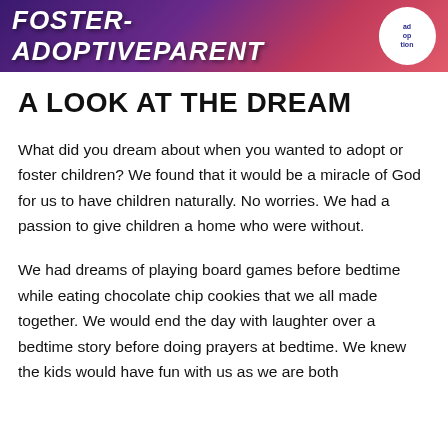[Figure (illustration): Banner image with stylized text 'Foster-AdoptiveParent' in gothic/bold white font on a purple-to-pink gradient background, with a circular white badge on the right showing 'adoption' text]
A LOOK AT THE DREAM
What did you dream about when you wanted to adopt or foster children? We found that it would be a miracle of God for us to have children naturally. No worries. We had a passion to give children a home who were without.
We had dreams of playing board games before bedtime while eating chocolate chip cookies that we all made together. We would end the day with laughter over a bedtime story before doing prayers at bedtime. We knew the kids would have fun with us as we are both